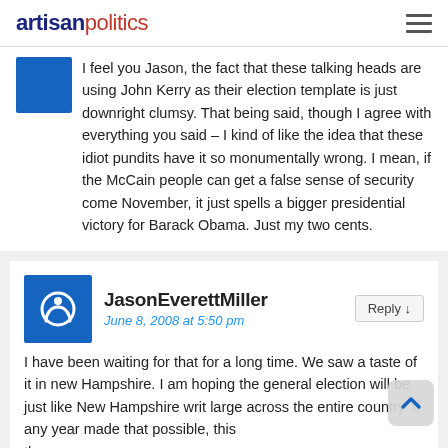artisanpolitics
I feel you Jason, the fact that these talking heads are using John Kerry as their election template is just downright clumsy. That being said, though I agree with everything you said – I kind of like the idea that these idiot pundits have it so monumentally wrong. I mean, if the McCain people can get a false sense of security come November, it just spells a bigger presidential victory for Barack Obama. Just my two cents.
JasonEverettMiller
June 8, 2008 at 5:50 pm
I have been waiting for that for a long time. We saw a taste of it in new Hampshire. I am hoping the general election will be just like New Hampshire writ large across the entire country. If any year made that possible, this is the year.